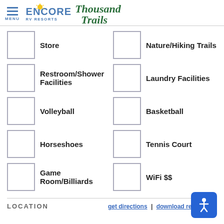[Figure (logo): Encore RV Resorts and Thousand Trails logo with hamburger menu icon]
Store
Nature/Hiking Trails
Restroom/Shower Facilities
Laundry Facilities
Volleyball
Basketball
Horseshoes
Tennis Court
Game Room/Billiards
WiFi $$
LOCATION
get directions | download resort map